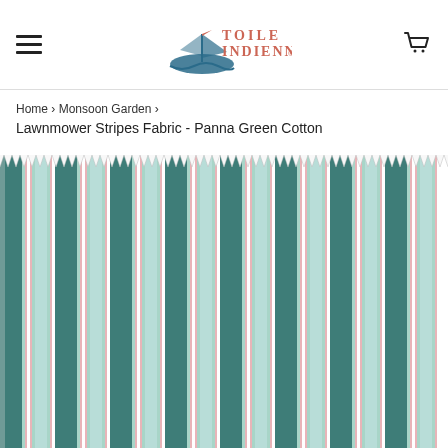Toile Indienne — navigation header with hamburger menu, logo, and cart icon
Home › Monsoon Garden ›
Lawnmower Stripes Fabric - Panna Green Cotton
[Figure (photo): Close-up swatch of Lawnmower Stripes fabric in Panna Green Cotton, showing vertical stripes in teal/dark green, light mint, pink, and white on a fabric with pinked/zigzag edges at top.]